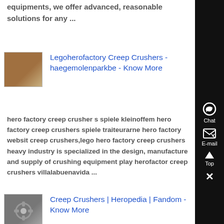equipments, we offer advanced, reasonable solutions for any ...
[Figure (photo): Thumbnail image of stacked wooden crates or boxes]
Legoherofactory Creep Crushers - haegemolenparkbe - Know More
hero factory creep crusher s spiele kleinoffem hero factory creep crushers spiele traiteurarne hero factory websit creep crushers,lego hero factory creep crushers heavy industry is specialized in the design, manufacture and supply of crushing equipment play herofactor creep crushers villalabuenavida ...
[Figure (photo): Thumbnail image of a mechanical component, appears to be a bearing or crusher part]
Creep Crushers | Heropedia | Fandom - Know More